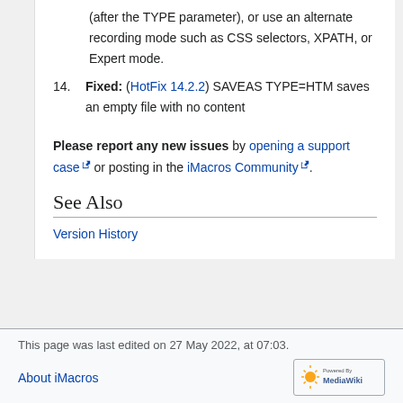(after the TYPE parameter), or use an alternate recording mode such as CSS selectors, XPATH, or Expert mode.
14. Fixed: (HotFix 14.2.2) SAVEAS TYPE=HTM saves an empty file with no content
Please report any new issues by opening a support case or posting in the iMacros Community.
See Also
Version History
This page was last edited on 27 May 2022, at 07:03.
About iMacros